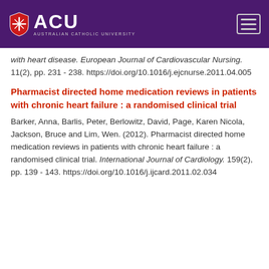ACU — Australian Catholic University
with heart disease. European Journal of Cardiovascular Nursing. 11(2), pp. 231 - 238. https://doi.org/10.1016/j.ejcnurse.2011.04.005
Pharmacist directed home medication reviews in patients with chronic heart failure : a randomised clinical trial
Barker, Anna, Barlis, Peter, Berlowitz, David, Page, Karen Nicola, Jackson, Bruce and Lim, Wen. (2012). Pharmacist directed home medication reviews in patients with chronic heart failure : a randomised clinical trial. International Journal of Cardiology. 159(2), pp. 139 - 143. https://doi.org/10.1016/j.ijcard.2011.02.034